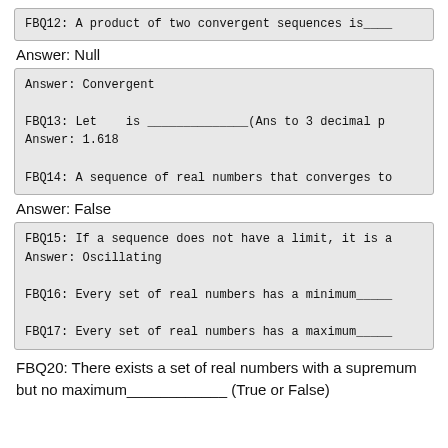FBQ12: A product of two convergent sequences is____
Answer: Null
Answer: Convergent

FBQ13: Let   is ______________(Ans to 3 decimal p
Answer: 1.618

FBQ14: A sequence of real numbers that converges to
Answer: False
FBQ15: If a sequence does not have a limit, it is a
Answer: Oscillating

FBQ16: Every set of real numbers has a minimum_____

FBQ17: Every set of real numbers has a maximum_____
FBQ20: There exists a set of real numbers with a supremum but no maximum____________ (True or False)